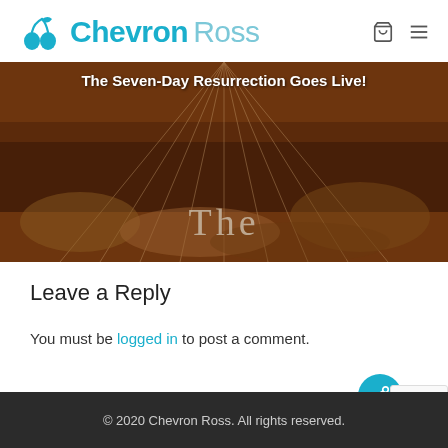Chevron Ross
[Figure (photo): Banner image showing The Seven-Day Resurrection Goes Live! with a textured earthy background and large italic 'The' text overlaid]
Leave a Reply
You must be logged in to post a comment.
© 2020 Chevron Ross. All rights reserved.